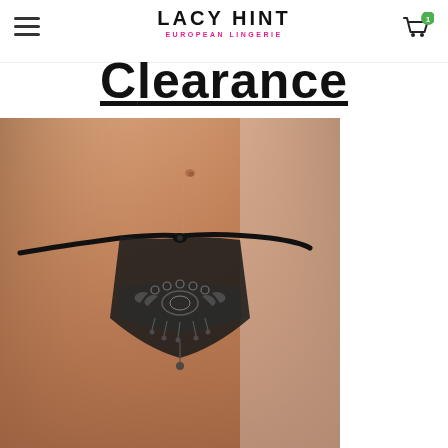LACY HINT EUROPEAN LINGERIE — navigation header with cart
Clearance
[Figure (photo): Product photo of a black sheer lingerie G-string thong with ornate lace embroidery panel at the front, worn on a female model torso with a warm skin tone background.]